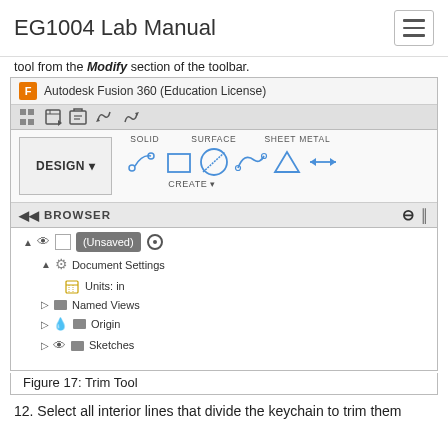EG1004 Lab Manual
tool from the Modify section of the toolbar.
[Figure (screenshot): Screenshot of Autodesk Fusion 360 (Education License) showing the DESIGN panel, toolbar with SOLID, SURFACE, SHEET METAL tabs, sketch tools under CREATE, and the BROWSER panel with tree items: (Unsaved), Document Settings, Units: in, Named Views, Origin, Sketches.]
Figure 17: Trim Tool
12. Select all interior lines that divide the keychain to trim them